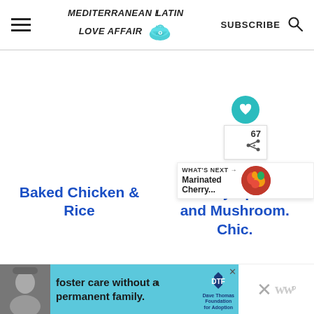Mediterranean Latin Love Affair | SUBSCRIBE
[Figure (screenshot): White blank content area between header and article titles]
Baked Chicken & Rice
Creamy Spinach and Mushroom Chic...
[Figure (infographic): Floating heart/save button (teal circle with heart icon), share count 67, share icon, and What's Next panel showing Marinated Cherry...]
[Figure (infographic): Advertisement banner: foster care without a permanent family. Dave Thomas Foundation for Adoption.]